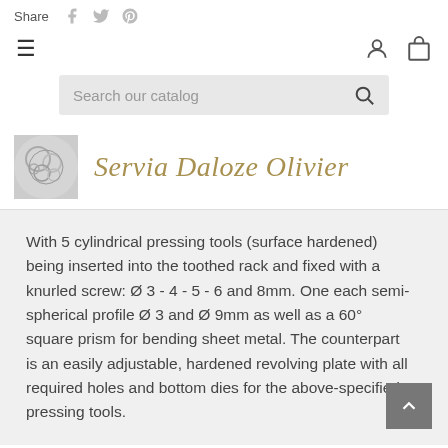Share
[Figure (logo): Servia Daloze Olivier brand logo with decorative circular motif]
Servia Daloze Olivier
With 5 cylindrical pressing tools (surface hardened) being inserted into the toothed rack and fixed with a knurled screw: Ø 3 - 4 - 5 - 6 and 8mm. One each semi-spherical profile Ø 3 and Ø 9mm as well as a 60° square prism for bending sheet metal. The counterpart is an easily adjustable, hardened revolving plate with all required holes and bottom dies for the above-specified pressing tools.